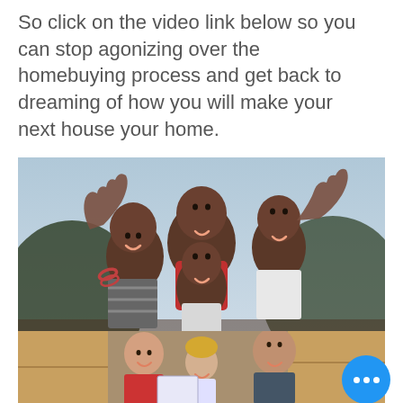So click on the video link below so you can stop agonizing over the homebuying process and get back to dreaming of how you will make your next house your home.
[Figure (photo): A happy African-American family of four posing together outdoors, smiling and waving with hands raised. The father stands in the back, flanked by two daughters and a son in front.]
[Figure (photo): A family (parents and a young child with blonde hair) looking at something together, surrounded by cardboard moving boxes. A blue chat bubble button with three dots overlaps the bottom right corner.]